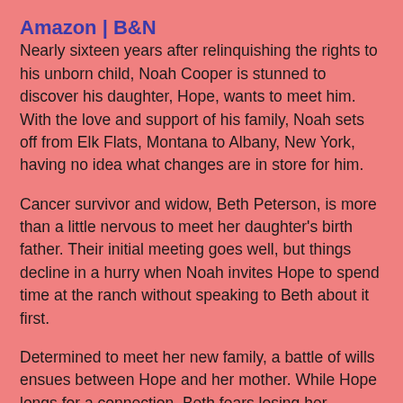Amazon | B&N
Nearly sixteen years after relinquishing the rights to his unborn child, Noah Cooper is stunned to discover his daughter, Hope, wants to meet him. With the love and support of his family, Noah sets off from Elk Flats, Montana to Albany, New York, having no idea what changes are in store for him.
Cancer survivor and widow, Beth Peterson, is more than a little nervous to meet her daughter's birth father. Their initial meeting goes well, but things decline in a hurry when Noah invites Hope to spend time at the ranch without speaking to Beth about it first.
Determined to meet her new family, a battle of wills ensues between Hope and her mother. While Hope longs for a connection, Beth fears losing her daughter to virtual strangers—strangers who live two thousand miles away.
Struggles and misunderstandings abound between Noah and Beth, despite their growing attraction for one another.